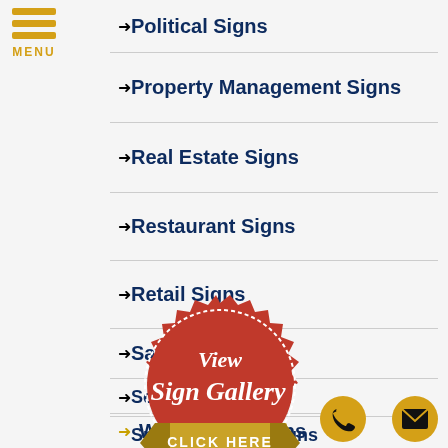[Figure (logo): Hamburger menu icon with three yellow horizontal bars and MENU label]
Political Signs
Property Management Signs
Real Estate Signs
Restaurant Signs
Retail Signs
Salon Signs
School Signs
Small Business Signs
Warehouse Signs
[Figure (illustration): Red scalloped badge stamp with white italic text 'View Sign Gallery' and gold ribbon banner at bottom reading 'CLICK HERE']